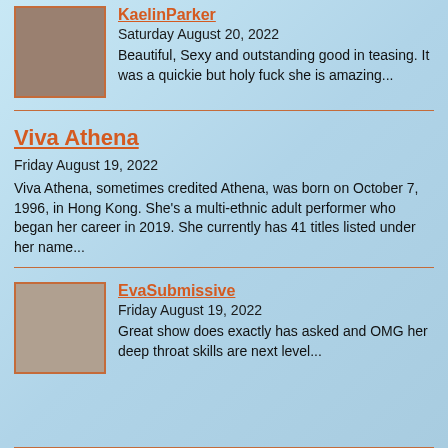[Figure (photo): Thumbnail photo of KaelinParker]
KaelinParker
Saturday August 20, 2022
Beautiful, Sexy and outstanding good in teasing. It was a quickie but holy fuck she is amazing...
Viva Athena
Friday August 19, 2022
Viva Athena, sometimes credited Athena, was born on October 7, 1996, in Hong Kong. She's a multi-ethnic adult performer who began her career in 2019. She currently has 41 titles listed under her name...
[Figure (photo): Thumbnail photo of EvaSubmissive]
EvaSubmissive
Friday August 19, 2022
Great show does exactly has asked and OMG her deep throat skills are next level...